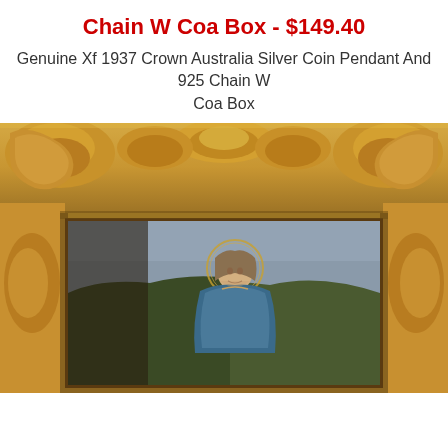Chain W Coa Box - $149.40
Genuine Xf 1937 Crown Australia Silver Coin Pendant And 925 Chain W Coa Box
[Figure (photo): Photo of an ornate gilded picture frame with baroque/rococo style carved scrollwork and acanthus leaf decorations at the top. Inside the frame is a painting depicting a young woman (possibly the Virgin Mary) with a halo, wearing blue/teal robes, shown from approximately the waist up against a landscape background.]